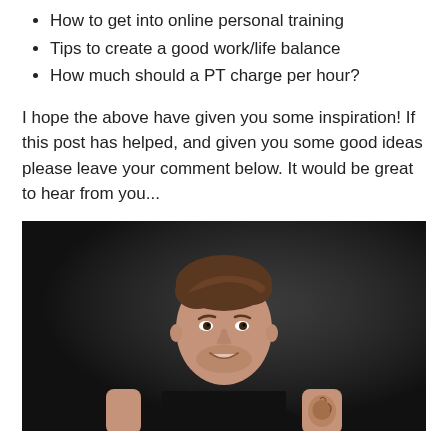How to get into online personal training
Tips to create a good work/life balance
How much should a PT charge per hour?
I hope the above have given you some inspiration! If this post has helped, and given you some good ideas please leave your comment below. It would be great to hear from you...
[Figure (photo): A young man smiling, wearing a black sleeveless top, with a tattoo on his upper right arm, photographed against a dark background. Professional fitness/personal trainer portrait.]